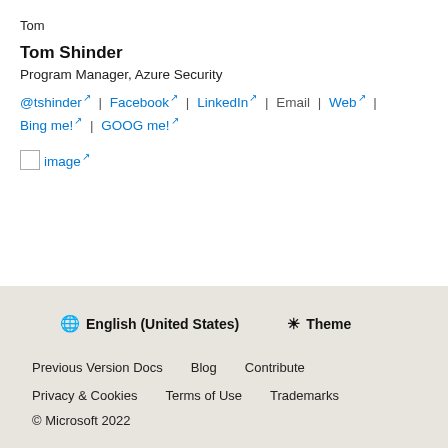Tom
Tom Shinder
Program Manager, Azure Security
@tshinder | Facebook | LinkedIn | Email | Web | Bing me! | GOOG me!
[Figure (illustration): Broken image placeholder with external link icon labeled 'image']
English (United States)  Theme
Previous Version Docs  Blog  Contribute
Privacy & Cookies  Terms of Use  Trademarks
© Microsoft 2022